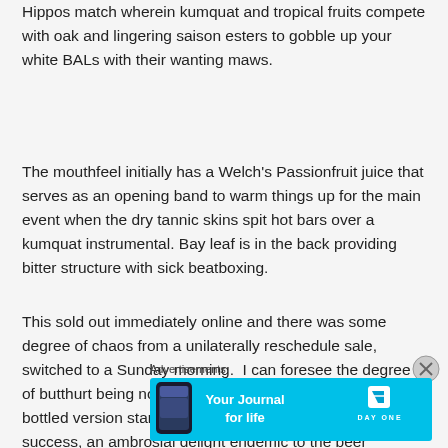Hippos match wherein kumquat and tropical fruits compete with oak and lingering saison esters to gobble up your white BALs with their wanting maws.
The mouthfeel initially has a Welch's Passionfruit juice that serves as an opening band to warm things up for the main event when the dry tannic skins spit hot bars over a kumquat instrumental. Bay leaf is in the back providing bitter structure with sick beatboxing.
This sold out immediately online and there was some degree of chaos from a unilaterally reschedule sale, switched to a Sunday morning.  I can foresee the degree of butthurt being noteworthy once the reviews for the bottled version start pouring in.  The sweet punishment of success, an ambrosial delight endemic to the beer industry.
Advertisements
[Figure (infographic): Advertisement banner for Day One app — 'Your Journal for life' on a cyan/blue background with a phone graphic and Day One logo]